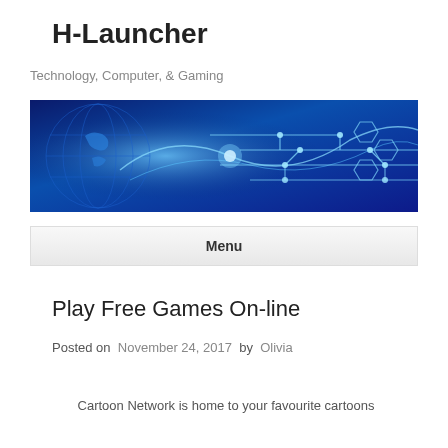H-Launcher
Technology, Computer, & Gaming
[Figure (illustration): Blue technology banner image with circuit board pattern and globe, glowing neon lines on dark blue background]
Menu
Play Free Games On-line
Posted on  November 24, 2017  by   Olivia
Cartoon Network is home to your favourite cartoons